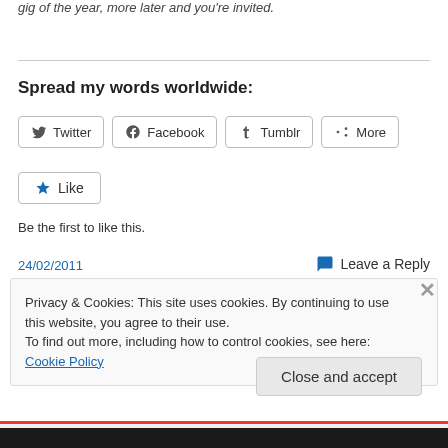gig of the year, more later and you're invited.
Spread my words worldwide:
[Figure (other): Social share buttons: Twitter, Facebook, Tumblr, More]
[Figure (other): Like button with star icon]
Be the first to like this.
24/02/2011
Leave a Reply
Privacy & Cookies: This site uses cookies. By continuing to use this website, you agree to their use.
To find out more, including how to control cookies, see here: Cookie Policy
Close and accept